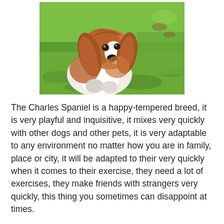[Figure (photo): A Cavalier King Charles Spaniel dog sitting on green grass, looking upward. The dog has chestnut/auburn and white coloring with long floppy ears.]
The Charles Spaniel is a happy-tempered breed, it is very playful and inquisitive, it mixes very quickly with other dogs and other pets, it is very adaptable to any environment no matter how you are in family, place or city, it will be adapted to their very quickly when it comes to their exercise, they need a lot of exercises, they make friends with strangers very quickly, this thing you sometimes can disappoint at times.